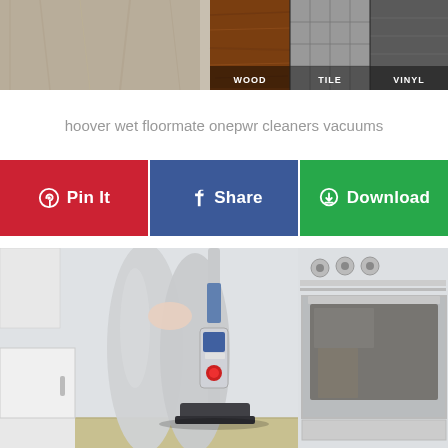[Figure (photo): Top portion showing wood flooring, tile, and vinyl floor type samples with labels WOOD, TILE, VINYL on dark background]
hoover wet floormate onepwr cleaners vacuums
[Figure (infographic): Three social sharing/action buttons: Pin It (red, Pinterest icon), Share (blue, Facebook icon), Download (green, download icon)]
[Figure (photo): Person in grey pants using a Hoover wet floormate vacuum cleaner in a kitchen next to a white oven/stove]